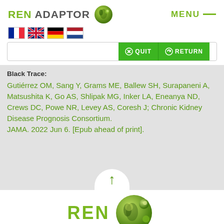REN ADAPTOR — MENU
[Figure (screenshot): Screenshot of REN ADAPTOR web application showing language flags (French, English, German, Dutch), a search bar with QUIT and RETURN buttons, a citation reference block with author names and journal info, a scroll-up arrow, and the REN ADAPTOR logo at the bottom.]
Black Trace:
Gutiérrez OM, Sang Y, Grams ME, Ballew SH, Surapaneni A, Matsushita K, Go AS, Shlipak MG, Inker LA, Eneanya ND, Crews DC, Powe NR, Levey AS, Coresh J; Chronic Kidney Disease Prognosis Consortium.
JAMA. 2022 Jun 6. [Epub ahead of print].